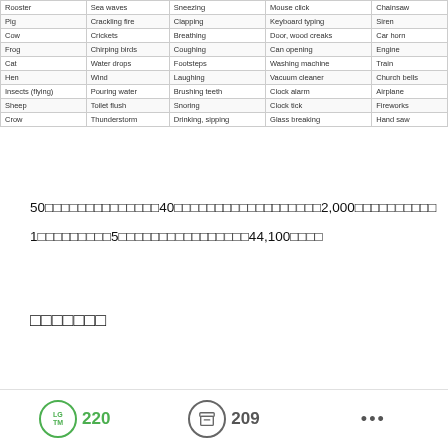| Rooster | Sea waves | Sneezing | Mouse click | Chainsaw |
| Pig | Crackling fire | Clapping | Keyboard typing | Siren |
| Cow | Crickets | Breathing | Door, wood creaks | Car horn |
| Frog | Chirping birds | Coughing | Can opening | Engine |
| Cat | Water drops | Footsteps | Washing machine | Train |
| Hen | Wind | Laughing | Vacuum cleaner | Church bells |
| Insects (flying) | Pouring water | Brushing teeth | Clock alarm | Airplane |
| Sheep | Toilet flush | Snoring | Clock tick | Fireworks |
| Crow | Thunderstorm | Drinking, sipping | Glass breaking | Hand saw |
50□□□□□□□□□□□□□□40□□□□□□□□□□□□□□□□□□2,000□□□□□□□□□□
1□□□□□□□□□5□□□□□□□□□□□□□□□□44,100□□□□
□□□□□□□
LG TM  220    209    •••